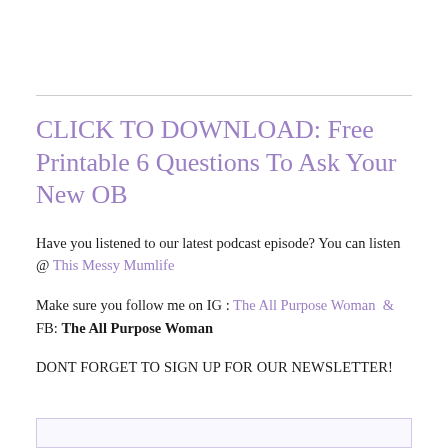CLICK TO DOWNLOAD: Free Printable 6 Questions To Ask Your New OB
Have you listened to our latest podcast episode? You can listen @ This Messy Mumlife
Make sure you follow me on IG : The All Purpose Woman  &  FB: The All Purpose Woman
DONT FORGET TO SIGN UP FOR OUR NEWSLETTER!